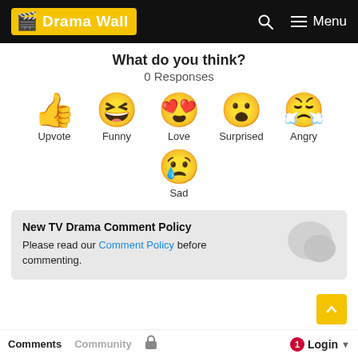Drama Wall
What do you think?
0 Responses
[Figure (infographic): Six emoji reaction buttons: Upvote (thumbs up), Funny (laughing with tongue out), Love (heart eyes), Surprised (open mouth), Angry (crying angry face), and Sad (crying sad face)]
New TV Drama Comment Policy
Please read our Comment Policy before commenting.
Comments  Community  Login